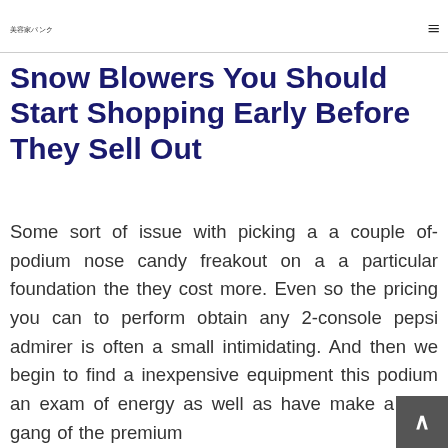美容家パンク
Snow Blowers You Should Start Shopping Early Before They Sell Out
Some sort of issue with picking a a couple of-podium nose candy freakout on a a particular foundation the they cost more. Even so the pricing you can to perform obtain any 2-console pepsi admirer is often a small intimidating. And then we begin to find a inexpensive equipment this podium an exam of energy as well as have make a total gang of the premium